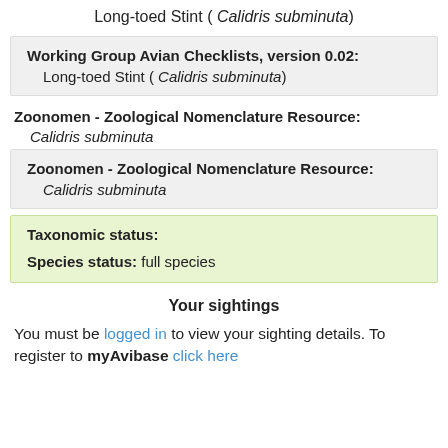Long-toed Stint ( Calidris subminuta)
Working Group Avian Checklists, version 0.02:
Long-toed Stint ( Calidris subminuta)
Zoonomen - Zoological Nomenclature Resource:
Calidris subminuta
Zoonomen - Zoological Nomenclature Resource:
Calidris subminuta
Taxonomic status:
Species status: full species
Your sightings
You must be logged in to view your sighting details. To register to myAvibase click here